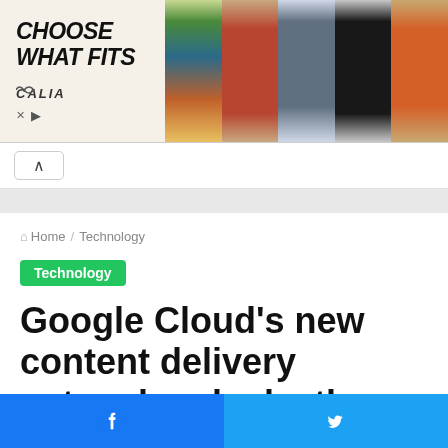[Figure (photo): Advertisement banner for Calia sportswear showing 'CHOOSE WHAT FITS' text with models wearing athletic wear including swimsuits and shorts]
Home / Technology
Technology
Google Cloud's new content delivery network unlocks the technology that keeps YouTube
Facebook share button | Twitter share button